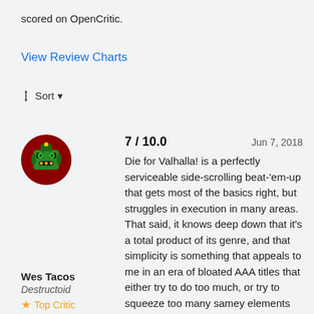scored on OpenCritic.
View Review Charts
⊕ Sort ▾
[Figure (photo): Circular avatar image showing a cartoon robot character with green and red coloring on a dark red background]
Wes Tacos
Destructoid
★ Top Critic
7 / 10.0    Jun 7, 2018
Die for Valhalla! is a perfectly serviceable side-scrolling beat-'em-up that gets most of the basics right, but struggles in execution in many areas. That said, it knows deep down that it's a total product of its genre, and that simplicity is something that appeals to me in an era of bloated AAA titles that either try to do too much, or try to squeeze too many samey elements into the game just to pad it out.